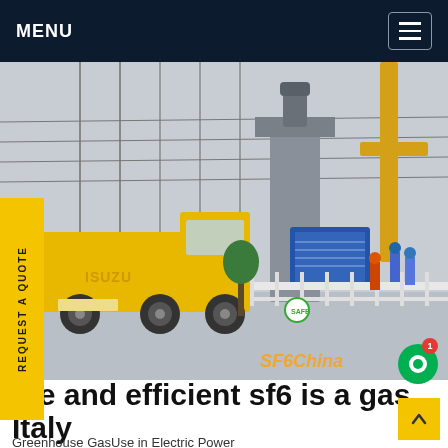MENU
[Figure (photo): Photograph of an electrical substation with yellow Isuzu truck, power equipment, and workers in hard hats. SF6China watermark visible in bottom right corner.]
afe and efficient sf6 is a gas Italy
Greenhouse GasUse in Electric Power